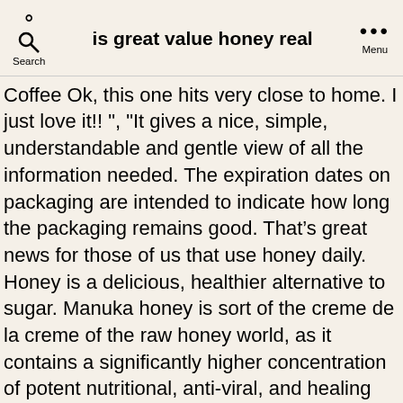is great value honey real
Coffee Ok, this one hits very close to home. I just love it!! ", "It gives a nice, simple, understandable and gentle view of all the information needed. The expiration dates on packaging are intended to indicate how long the packaging remains good. That's great news for those of us that use honey daily. Honey is a delicious, healthier alternative to sugar. Manuka honey is sort of the creme de la creme of the raw honey world, as it contains a significantly higher concentration of potent nutritional, anti-viral, and healing properties.Produced in New Zealand by bees that pollinate the native manuka bush, this type of honey is potent in both taste and nutritional content. If you cannot see through the water, your honey contains bee pollen. Use several of these tests if possible to obtain a good guess about whether or not your honey is pure.